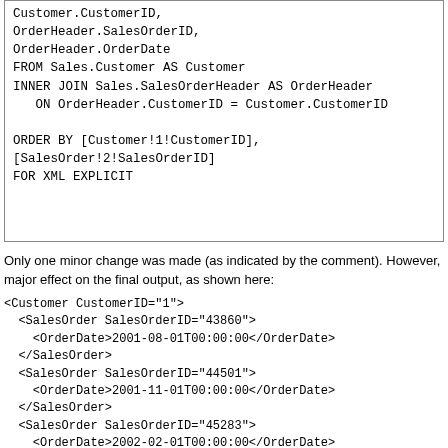Only one minor change was made (as indicated by the comment). However, major effect on the final output, as shown here: